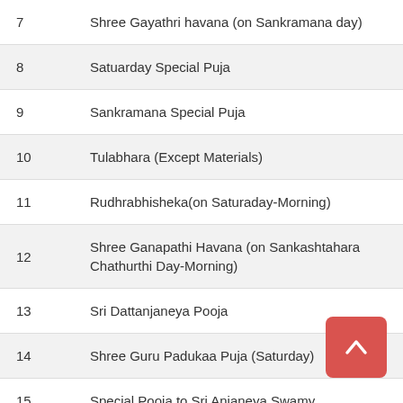| # | Name |
| --- | --- |
| 7 | Shree Gayathri havana (on Sankramana day) |
| 8 | Satuarday Special Puja |
| 9 | Sankramana Special Puja |
| 10 | Tulabhara (Except Materials) |
| 11 | Rudhrabhisheka(on Saturaday-Morning) |
| 12 | Shree Ganapathi Havana (on Sankashtahara Chathurthi Day-Morning) |
| 13 | Sri Dattanjaneya Pooja |
| 14 | Shree Guru Padukaa Puja (Saturday) |
| 15 | Special Pooja to Sri Anjaneya Swamy |
| 16 | Guru Pooja |
| 17 | Special Pooja to Sri Vajramatha |